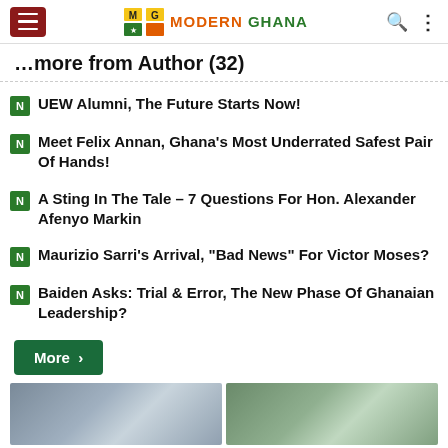Modern Ghana
More From Author (32)
UEW Alumni, The Future Starts Now!
Meet Felix Annan, Ghana's Most Underrated Safest Pair Of Hands!
A Sting In The Tale – 7 Questions For Hon. Alexander Afenyo Markin
Maurizio Sarri's Arrival, "Bad News" For Victor Moses?
Baiden Asks: Trial & Error, The New Phase Of Ghanaian Leadership?
More >
[Figure (photo): Two street scene photos side by side]